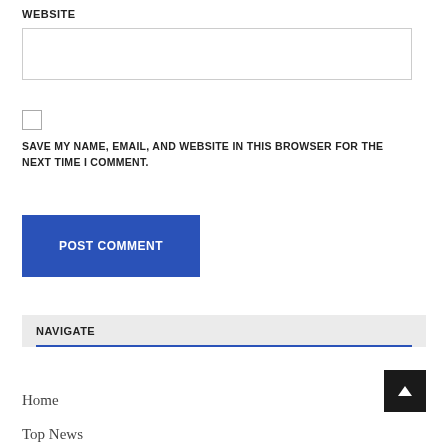WEBSITE
[Figure (other): Website text input field (empty)]
[Figure (other): Checkbox (unchecked)]
SAVE MY NAME, EMAIL, AND WEBSITE IN THIS BROWSER FOR THE NEXT TIME I COMMENT.
[Figure (other): POST COMMENT button (blue)]
NAVIGATE
Home
Top News